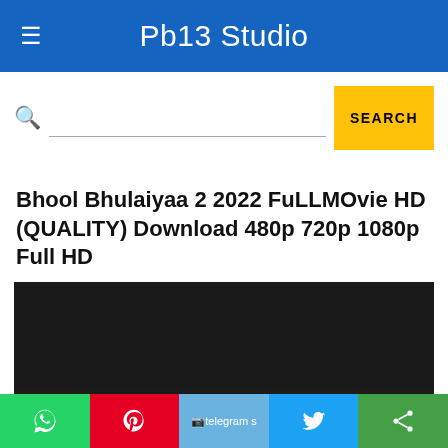Pb13 Studio
SEARCH
Bhool Bhulaiyaa 2 2022 FuLLMOvie HD (QUALITY) Download 480p 720p 1080p Full HD
[Figure (screenshot): YouTube embedded video player showing 'Video unavailable' message: 'This video is no longer available because the YouTube account associated with this video has been terminated.']
WhatsApp | Pinterest | Telegram | Twitter | Share